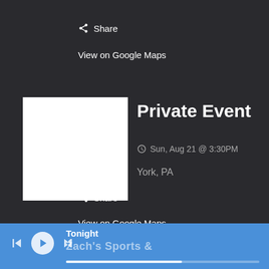Share
View on Google Maps
[Figure (illustration): White square thumbnail placeholder for Private Event]
Private Event
Sun, Aug 21 @ 3:30PM
York, PA
Share
View on Google Maps
Tonight / Zach's Sports &...